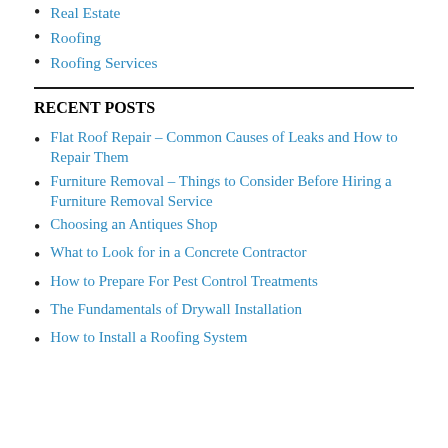Real Estate
Roofing
Roofing Services
RECENT POSTS
Flat Roof Repair – Common Causes of Leaks and How to Repair Them
Furniture Removal – Things to Consider Before Hiring a Furniture Removal Service
Choosing an Antiques Shop
What to Look for in a Concrete Contractor
How to Prepare For Pest Control Treatments
The Fundamentals of Drywall Installation
How to Install a Roofing System